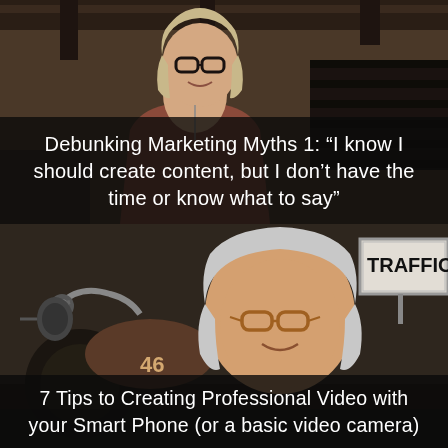[Figure (photo): Woman with glasses and reddish-brown jacket standing in an industrial or garage setting, smiling at camera]
Debunking Marketing Myths 1: “I know I should create content, but I don’t have the time or know what to say”
[Figure (photo): Woman with glasses and gray hair smiling near a vintage motorcycle, with a TRAFFIC sign visible in background]
7 Tips to Creating Professional Video with your Smart Phone (or a basic video camera)